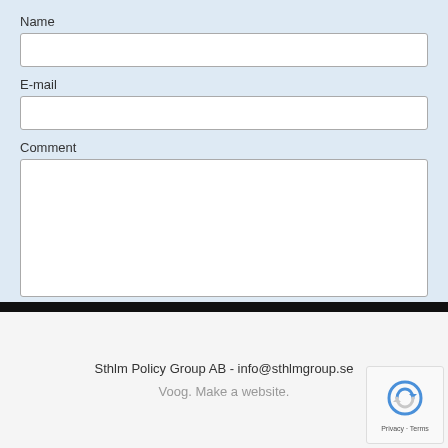Name
E-mail
Comment
Submit
Sthlm Policy Group AB  -  info@sthlmgroup.se
Voog. Make a website.